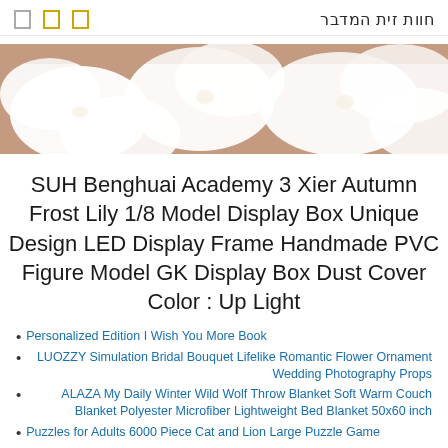חוות זית המדבר
[Figure (photo): Close-up photo of white flowers (orchids/lilies) with a warm beige background, used as a hero/banner image for the webpage.]
SUH Benghuai Academy 3 Xier Autumn Frost Lily 1/8 Model Display Box Unique Design LED Display Frame Handmade PVC Figure Model GK Display Box Dust Cover Color : Up Light
Personalized Edition I Wish You More Book
LUOZZY Simulation Bridal Bouquet Lifelike Romantic Flower Ornament Wedding Photography Props
ALAZA My Daily Winter Wild Wolf Throw Blanket Soft Warm Couch Blanket Polyester Microfiber Lightweight Bed Blanket 50x60 inch
Puzzles for Adults 6000 Piece Cat and Lion Large Puzzle Game